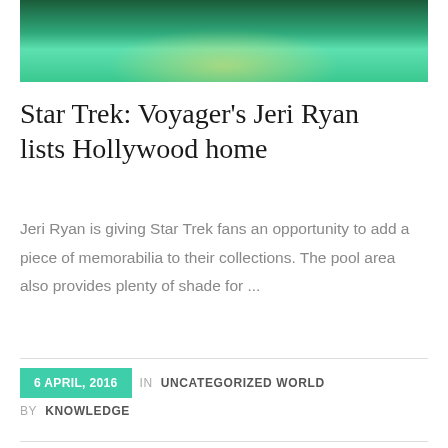[Figure (photo): Aerial or top-down view of a pool area with teal/green water, palm trees, and outdoor furniture with glowing lights]
Star Trek: Voyager's Jeri Ryan lists Hollywood home
Jeri Ryan is giving Star Trek fans an opportunity to add a piece of memorabilia to their collections. The pool area also provides plenty of shade for ...
6 APRIL, 2016  IN  UNCATEGORIZED WORLD  BY  KNOWLEDGE